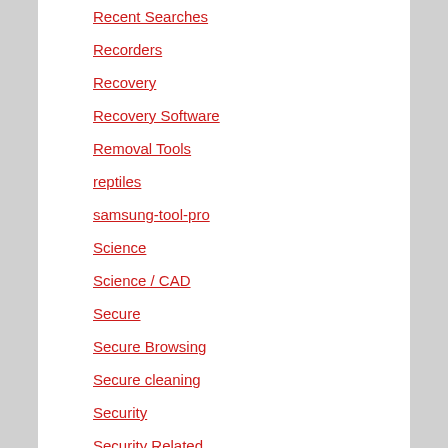Recent Searches
Recorders
Recovery
Recovery Software
Removal Tools
reptiles
samsung-tool-pro
Science
Science / CAD
Secure
Secure Browsing
Secure cleaning
Security
Security Related